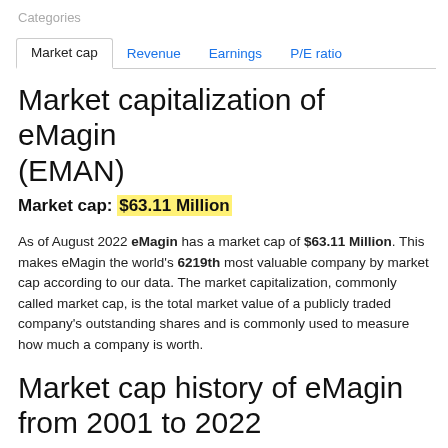Categories
Market cap | Revenue | Earnings | P/E ratio
Market capitalization of eMagin (EMAN)
Market cap: $63.11 Million
As of August 2022 eMagin has a market cap of $63.11 Million. This makes eMagin the world's 6219th most valuable company by market cap according to our data. The market capitalization, commonly called market cap, is the total market value of a publicly traded company's outstanding shares and is commonly used to measure how much a company is worth.
Market cap history of eMagin from 2001 to 2022